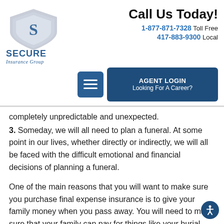[Figure (logo): Secure Insurance Group shield logo with 'SECURE Insurance Group' text]
Call Us Today!
1-877-871-7328 Toll Free
417-883-9300 Local
completely unpredictable and unexpected.
3. Someday, we will all need to plan a funeral. At some point in our lives, whether directly or indirectly, we will all be faced with the difficult emotional and financial decisions of planning a funeral.
One of the main reasons that you will want to make sure you purchase final expense insurance is to give your family money when you pass away. You will need to make sure that your family can pay for things like your burial and your funeral.